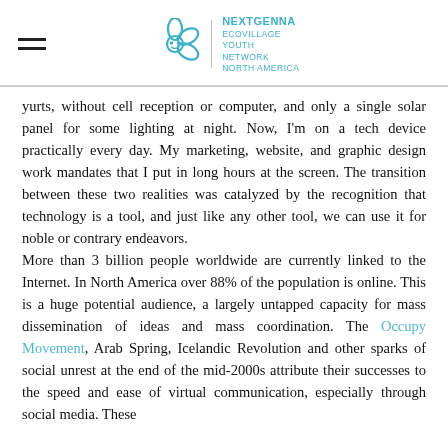NextGenna Ecovillage Youth Network North America
yurts, without cell reception or computer, and only a single solar panel for some lighting at night. Now, I'm on a tech device practically every day. My marketing, website, and graphic design work mandates that I put in long hours at the screen. The transition between these two realities was catalyzed by the recognition that technology is a tool, and just like any other tool, we can use it for noble or contrary endeavors.
More than 3 billion people worldwide are currently linked to the Internet. In North America over 88% of the population is online. This is a huge potential audience, a largely untapped capacity for mass dissemination of ideas and mass coordination. The Occupy Movement, Arab Spring, Icelandic Revolution and other sparks of social unrest at the end of the mid-2000s attribute their successes to the speed and ease of virtual communication, especially through social media. These